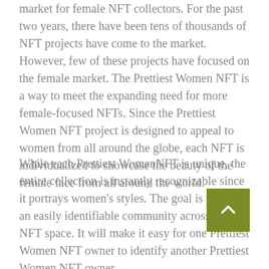market for female NFT collectors. For the past two years, there have been tens of thousands of NFT projects have come to the market. However, few of these projects have focused on the female market. The Prettiest Women NFT is a way to meet the expanding need for more female-focused NFTs. Since the Prettiest Women NFT project is designed to appeal to women from all around the globe, each NFT is individualized to showcase the beauty of the female face from all around the world.
While each Prettiest WomenNFT is unique, the entire collection is instantly recognizable since it portrays women's styles. The goal is to create an easily identifiable community across the NFT space. It will make it easy for one Prettiest Women NFT owner to identify another Prettiest Women NFT owner.